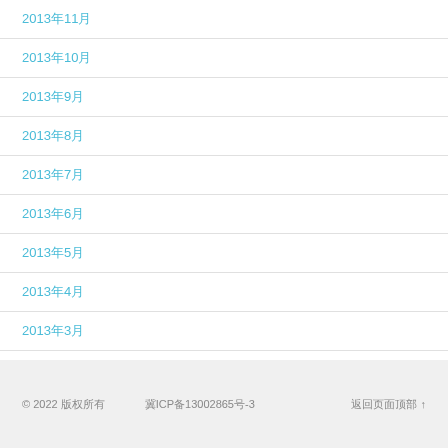2013年11月
2013年10月
2013年9月
2013年8月
2013年7月
2013年6月
2013年5月
2013年4月
2013年3月
2013年2月
© 2022 版权所有          冀ICP备13002865号-3          返回页面顶部 ↑